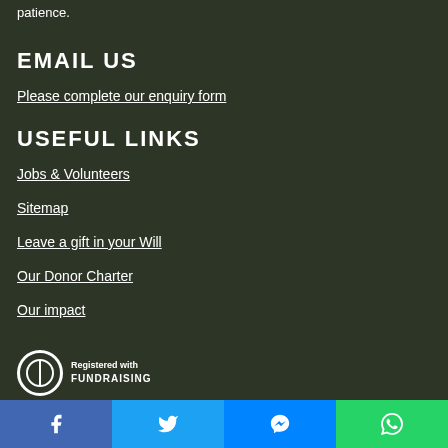patience.
EMAIL US
Please complete our enquiry form
USEFUL LINKS
Jobs & Volunteers
Sitemap
Leave a gift in your Will
Our Donor Charter
Our impact
[Figure (logo): Registered with Fundraising logo circle]
Facebook | Twitter | Messenger | WhatsApp social share buttons